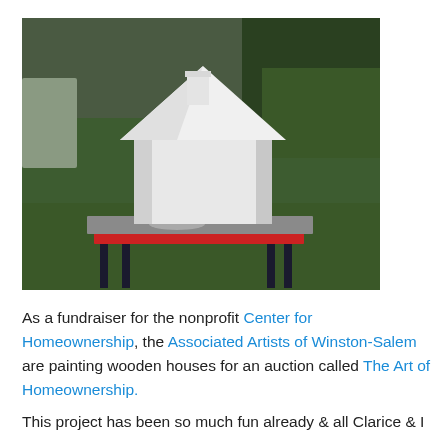[Figure (photo): A white model house (with a triangular roof and chimney) sitting on a folding table outdoors on a grassy lawn. The table has a red edge and a gray tabletop surface. The background shows green shrubs and grass.]
As a fundraiser for the nonprofit Center for Homeownership, the Associated Artists of Winston-Salem are painting wooden houses for an auction called The Art of Homeownership.
This project has been so much fun already & all Clarice & I